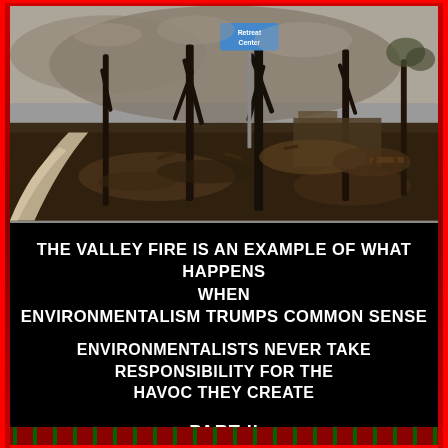[Figure (photo): Photograph of a wildfire aftermath scene showing charred trees, burned debris, and scorched ground. A blue 'Retreat Center' sign is visible on a pole. Smoke hangs in the air. A pathway curves to the left.]
THE VALLEY FIRE IS AN EXAMPLE OF WHAT HAPPENS WHEN ENVIRONMENTALISM TRUMPS COMMON SENSE
ENVIRONMENTALISTS NEVER TAKE RESPONSIBILITY FOR THE HAVOC THEY CREATE
PART II